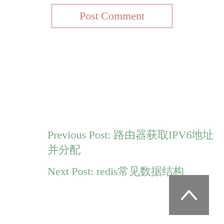Post Comment
Previous Post: 路由器获取IPV6地址并分配
Next Post: redis常见数据结构
[Figure (other): Back to top button - a grey square with a white upward chevron arrow icon]